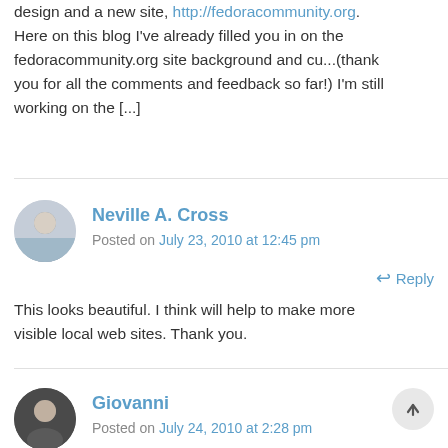design and a new site, http://fedoracommunity.org. Here on this blog I've already filled you in on the fedoracommunity.org site background and cu...(thank you for all the comments and feedback so far!) I'm still working on the [...]
Neville A. Cross
Posted on July 23, 2010 at 12:45 pm
Reply
This looks beautiful. I think will help to make more visible local web sites. Thank you.
Giovanni
Posted on July 24, 2010 at 2:28 pm